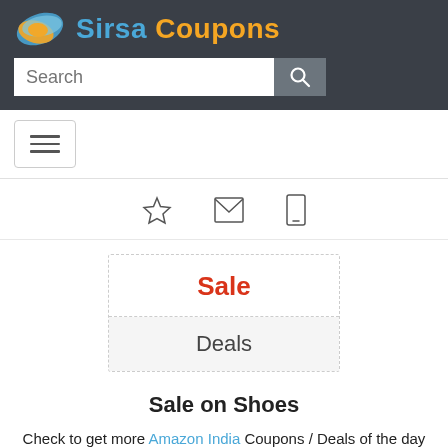Sirsa Coupons
[Figure (logo): Sirsa Coupons logo with swirling blue and orange icon and brand name]
Search
[Figure (infographic): Navigation hamburger menu button]
[Figure (infographic): Three icons: star (favorite), envelope (email), mobile phone]
Sale
Deals
Sale on Shoes
Check to get more Amazon India Coupons / Deals of the day to save as much. Get your offer now and save big
Fashion